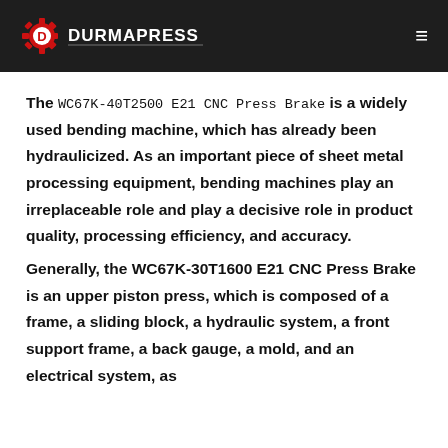DURMAPRESS
The WC67K-40T2500 E21 CNC Press Brake is a widely used bending machine, which has already been hydraulicized. As an important piece of sheet metal processing equipment, bending machines play an irreplaceable role and play a decisive role in product quality, processing efficiency, and accuracy.
Generally, the WC67K-30T1600 E21 CNC Press Brake is an upper piston press, which is composed of a frame, a sliding block, a hydraulic system, a front support frame, a back gauge, a mold, and an electrical system, as